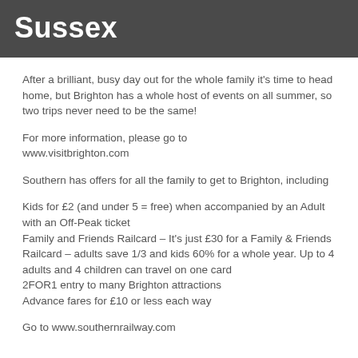Sussex
After a brilliant, busy day out for the whole family it's time to head home, but Brighton has a whole host of events on all summer, so two trips never need to be the same!
For more information, please go to www.visitbrighton.com
Southern has offers for all the family to get to Brighton, including
Kids for £2 (and under 5 = free) when accompanied by an Adult with an Off-Peak ticket
Family and Friends Railcard – It's just £30 for a Family & Friends Railcard – adults save 1/3 and kids 60% for a whole year. Up to 4 adults and 4 children can travel on one card
2FOR1 entry to many Brighton attractions
Advance fares for £10 or less each way
Go to www.southernrailway.com